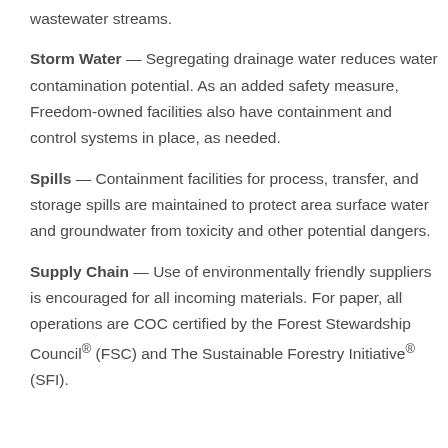wastewater streams.
Storm Water — Segregating drainage water reduces water contamination potential. As an added safety measure, Freedom-owned facilities also have containment and control systems in place, as needed.
Spills — Containment facilities for process, transfer, and storage spills are maintained to protect area surface water and groundwater from toxicity and other potential dangers.
Supply Chain — Use of environmentally friendly suppliers is encouraged for all incoming materials. For paper, all operations are COC certified by the Forest Stewardship Council® (FSC) and The Sustainable Forestry Initiative® (SFI).